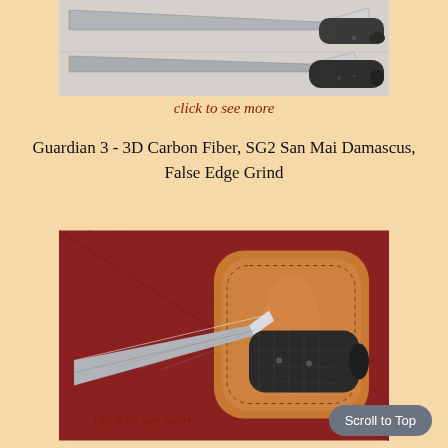[Figure (photo): Photo of two knives with black marbled carbon fiber handles on a light surface, viewed from above, showing blade and handle detail.]
click to see more
Guardian 3 - 3D Carbon Fiber, SG2 San Mai Damascus, False Edge Grind
[Figure (photo): Photo of a knife with black carbon fiber handle and damascus blade next to a tan leather sheath, on a red wooden surface.]
click to see more
Scroll to Top